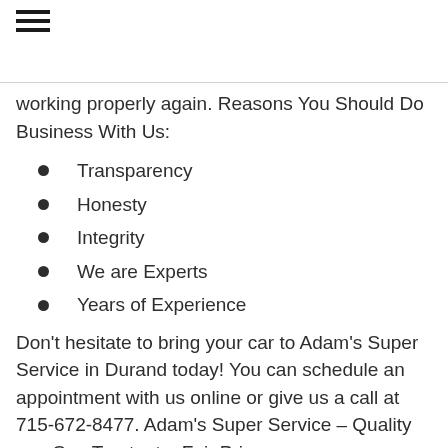≡
working properly again. Reasons You Should Do Business With Us:
Transparency
Honesty
Integrity
We are Experts
Years of Experience
Don't hesitate to bring your car to Adam's Super Service in Durand today! You can schedule an appointment with us online or give us a call at 715-672-8477. Adam's Super Service – Quality you Can Trust, at a Fair Price.